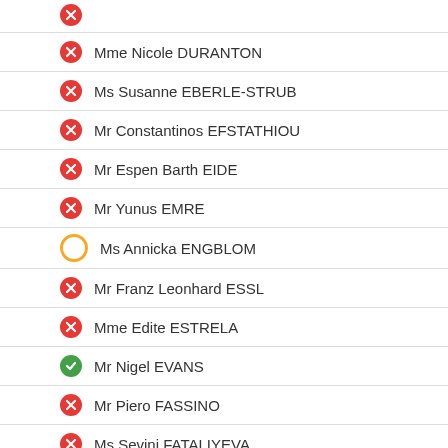Mme Nicole DURANTON
Ms Susanne EBERLE-STRUB
Mr Constantinos EFSTATHIOU
Mr Espen Barth EIDE
Mr Yunus EMRE
Ms Annicka ENGBLOM
Mr Franz Leonhard ESSL
Mme Edite ESTRELA
Mr Nigel EVANS
Mr Piero FASSINO
Ms Sevinj FATALIYEVA
Mme Doris FIALA
Ms Tarja FILATOV
Lord George FOULKES
Sir Roger GALE
M. Marco GATTI
M. André GATTOLIN